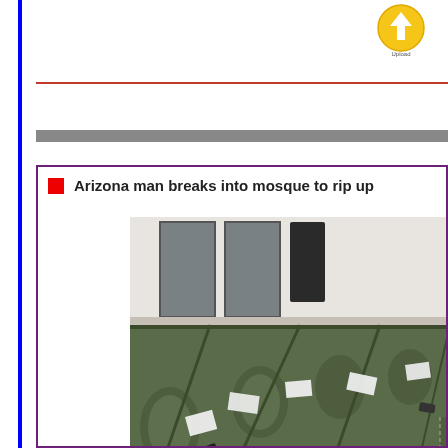[Figure (logo): Yellow circular upload/share icon button]
Arizona man breaks into mosque to rip up
[Figure (photo): Interior of a mosque showing patterned prayer rugs/carpet on the floor with papers scattered on them, windows visible in the background]